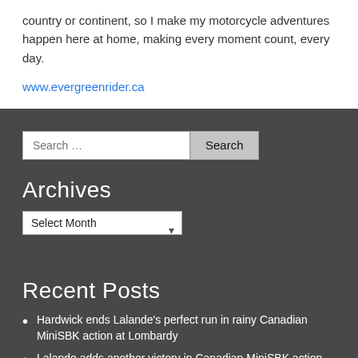country or continent, so I make my motorcycle adventures happen here at home, making every moment count, every day.
www.evergreenrider.ca
Archives
Recent Posts
Hardwick ends Lalande's perfect run in rainy Canadian MiniSBK action at Lombardy
Lalande adds another victory in Canadian MiniSBK action